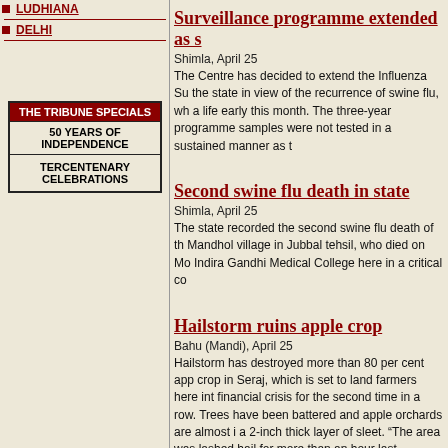LUDHIANA
DELHI
| THE TRIBUNE SPECIALS |
| 50 YEARS OF INDEPENDENCE |
| TERCENTENARY CELEBRATIONS |
Surveillance programme extended as s
Shimla, April 25
The Centre has decided to extend the Influenza Surveillance programme to the state in view of the recurrence of swine flu, which claimed a life early this month. The three-year programme samples were not tested in a sustained manner as th
Second swine flu death in state
Shimla, April 25
The state recorded the second swine flu death of the year. A resident of Mandhol village in Jubbal tehsil, who died on Monday at Indira Gandhi Medical College here in a critical co
Hailstorm ruins apple crop
Bahu (Mandi), April 25
Hailstorm has destroyed more than 80 per cent apple crop in Seraj, which is set to land farmers here into financial crisis for the second time in a row. Trees have been battered and apple orchards are almost in a 2-inch thick layer of sleet. “The area was lashed hail for more than an hour last evening. We have l all hopes of sustaining our families for the whole year,” said Parkash of Bahu.
A field dotted with hailstones at Bahu in Mandi.